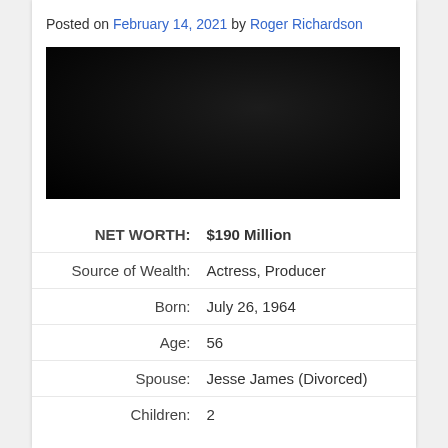Posted on February 14, 2021 by Roger Richardson
[Figure (photo): Dark/black image placeholder]
| Label | Value |
| --- | --- |
| NET WORTH: | $190 Million |
| Source of Wealth: | Actress, Producer |
| Born: | July 26, 1964 |
| Age: | 56 |
| Spouse: | Jesse James (Divorced) |
| Children: | 2 |